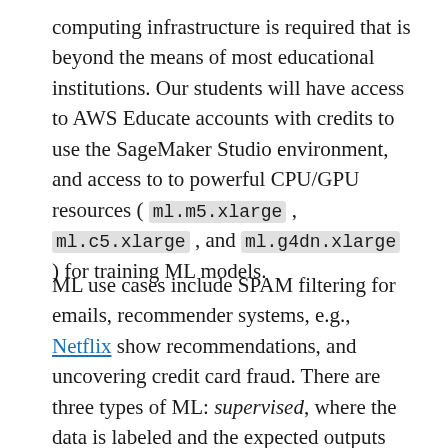computing infrastructure is required that is beyond the means of most educational institutions. Our students will have access to AWS Educate accounts with credits to use the SageMaker Studio environment, and access to to powerful CPU/GPU resources ( ml.m5.xlarge , ml.c5.xlarge , and ml.g4dn.xlarge ) for training ML models.
ML use cases include SPAM filtering for emails, recommender systems, e.g., Netflix show recommendations, and uncovering credit card fraud. There are three types of ML: supervised, where the data is labeled and the expected outputs are well understood (is an, is this email SPAM or not); unsupervised, where the ML